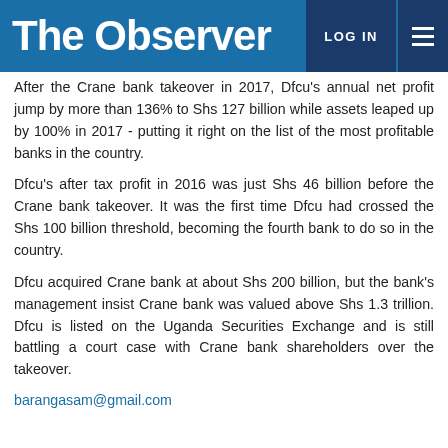The Observer | LOG IN
After the Crane bank takeover in 2017, Dfcu's annual net profit jump by more than 136% to Shs 127 billion while assets leaped up by 100% in 2017 - putting it right on the list of the most profitable banks in the country.
Dfcu's after tax profit in 2016 was just Shs 46 billion before the Crane bank takeover. It was the first time Dfcu had crossed the Shs 100 billion threshold, becoming the fourth bank to do so in the country.
Dfcu acquired Crane bank at about Shs 200 billion, but the bank's management insist Crane bank was valued above Shs 1.3 trillion. Dfcu is listed on the Uganda Securities Exchange and is still battling a court case with Crane bank shareholders over the takeover.
barangasam@gmail.com